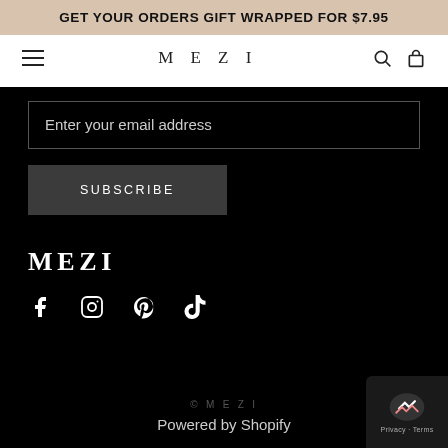GET YOUR ORDERS GIFT WRAPPED FOR $7.95
MEZI
Enter your email address
SUBSCRIBE
MEZI
[Figure (illustration): Social media icons: Facebook, Instagram, Pinterest, TikTok]
© MEZI
Powered by Shopify